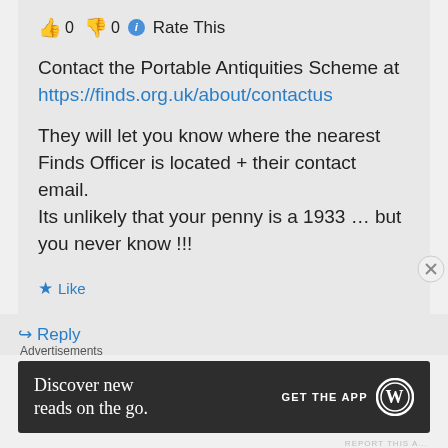👍 0 👎 0 ℹ Rate This
Contact the Portable Antiquities Scheme at https://finds.org.uk/about/contactus
They will let you know where the nearest Finds Officer is located + their contact email.
Its unlikely that your penny is a 1933 … but you never know !!!
★ Like
↪ Reply
Advertisements
[Figure (infographic): Dark advertisement banner: 'Discover new reads on the go.' with GET THE APP and WordPress logo]